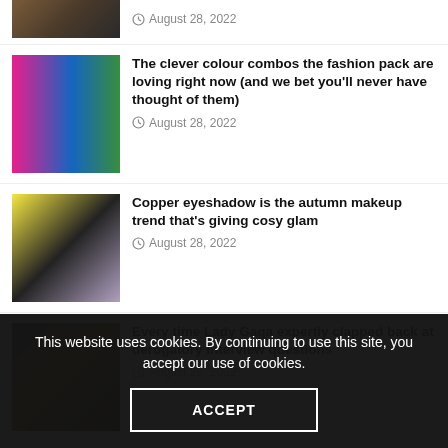[Figure (photo): Partial view of sneakers/shoes at top of page]
August 28, 2022
[Figure (photo): Two women in colorful outfits - pink blazer and blue outfit]
The clever colour combos the fashion pack are loving right now (and we bet you'll never have thought of them)
August 28, 2022
[Figure (photo): Woman with copper eyeshadow makeup]
Copper eyeshadow is the autumn makeup trend that's giving cosy glam
August 28, 2022
[Figure (photo): Lady Gaga performing or at event]
Every time Lady Gaga expertly clapped back at derogatory interview questions
August 28, 2022
This website uses cookies. By continuing to use this site, you accept our use of cookies.